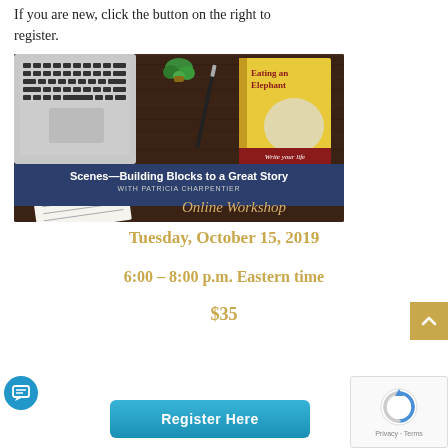If you are new, click the button on the right to register.
[Figure (photo): Online workshop promotional image showing a laptop, book titled 'Eating an Elephant - Write your life', pen, succulent plant, and notebook on a wooden table. Banner reads: Scenes—Building Blocks to a Great Story WITH PATRICIA CHARPENTIER. Online Workshop in script text.]
Tuesday, October 15, 2019
6:00 – 8:00 p.m. Eastern time
$35
Register Here